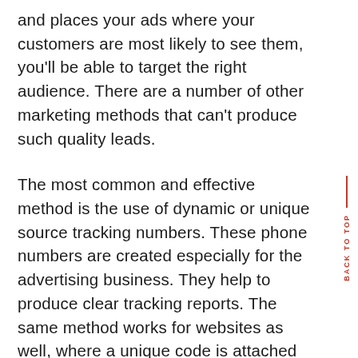and places your ads where your customers are most likely to see them, you'll be able to target the right audience. There are a number of other marketing methods that can't produce such quality leads.
The most common and effective method is the use of dynamic or unique source tracking numbers. These phone numbers are created especially for the advertising business. They help to produce clear tracking reports. The same method works for websites as well, where a unique code is attached to the website and tracked for each call. The number can then be used to track keyword searches to see how many people found your website through it. With the right campaign, you